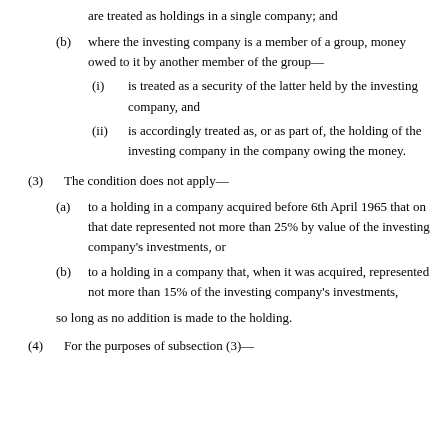are treated as holdings in a single company; and
(b) where the investing company is a member of a group, money owed to it by another member of the group—
(i) is treated as a security of the latter held by the investing company, and
(ii) is accordingly treated as, or as part of, the holding of the investing company in the company owing the money.
(3) The condition does not apply—
(a) to a holding in a company acquired before 6th April 1965 that on that date represented not more than 25% by value of the investing company's investments, or
(b) to a holding in a company that, when it was acquired, represented not more than 15% of the investing company's investments,
so long as no addition is made to the holding.
(4) For the purposes of subsection (3)—